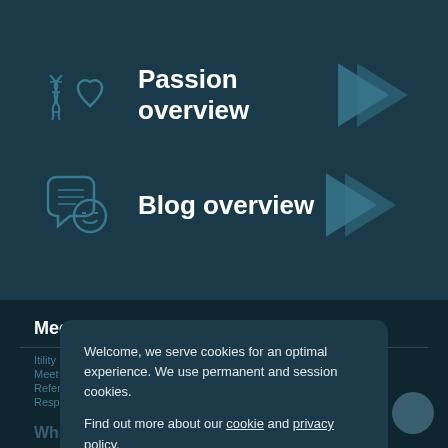Passion overview
Blog overview
Meet Itility
Welcome, we serve cookies for an optimal experience. We use permanent and session cookies.

Find out more about our cookie and privacy policy.
Accept